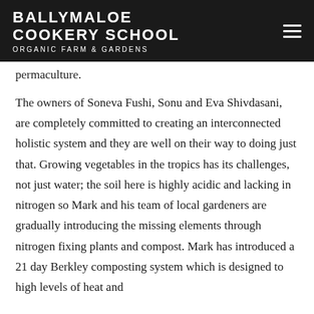BALLYMALOE COOKERY SCHOOL ORGANIC FARM & GARDENS
permaculture.
The owners of Soneva Fushi, Sonu and Eva Shivdasani, are completely committed to creating an interconnected holistic system and they are well on their way to doing just that. Growing vegetables in the tropics has its challenges, not just water; the soil here is highly acidic and lacking in nitrogen so Mark and his team of local gardeners are gradually introducing the missing elements through nitrogen fixing plants and compost. Mark has introduced a 21 day Berkley composting system which is designed to high levels of heat and...